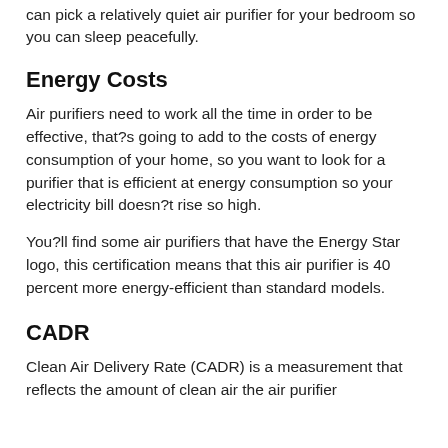can pick a relatively quiet air purifier for your bedroom so you can sleep peacefully.
Energy Costs
Air purifiers need to work all the time in order to be effective, that?s going to add to the costs of energy consumption of your home, so you want to look for a purifier that is efficient at energy consumption so your electricity bill doesn?t rise so high.
You?ll find some air purifiers that have the Energy Star logo, this certification means that this air purifier is 40 percent more energy-efficient than standard models.
CADR
Clean Air Delivery Rate (CADR) is a measurement that reflects the amount of clean air the air purifier